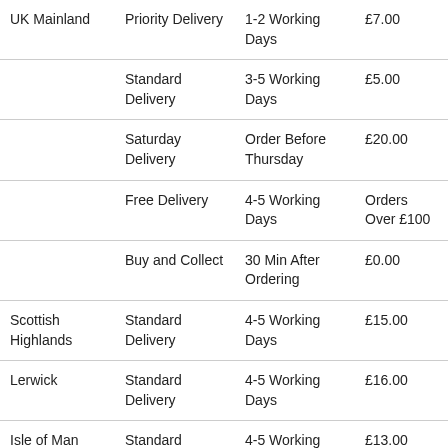| Region | Delivery Type | Timeframe | Cost |
| --- | --- | --- | --- |
| UK Mainland | Priority Delivery | 1-2 Working Days | £7.00 |
|  | Standard Delivery | 3-5 Working Days | £5.00 |
|  | Saturday Delivery | Order Before Thursday | £20.00 |
|  | Free Delivery | 4-5 Working Days | Orders Over £100 |
|  | Buy and Collect | 30 Min After Ordering | £0.00 |
| Scottish Highlands | Standard Delivery | 4-5 Working Days | £15.00 |
| Lerwick | Standard Delivery | 4-5 Working Days | £16.00 |
| Isle of Man | Standard Delivery | 4-5 Working Days | £13.00 |